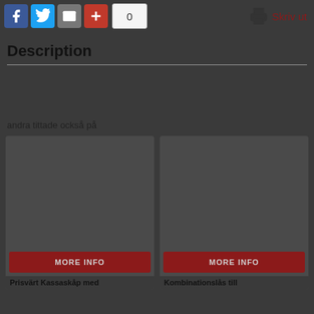[Figure (screenshot): Social sharing toolbar with Facebook, Twitter, email, and plus buttons, a count box showing 0, and a print button labeled 'Skriv ut']
Description
andra tittade också på
[Figure (screenshot): Product card with dark image area, dark red MORE INFO button, and title 'Prisvärt Kassaskåp med...']
[Figure (screenshot): Product card with dark image area, dark red MORE INFO button, and title 'Kombinationslås till...']